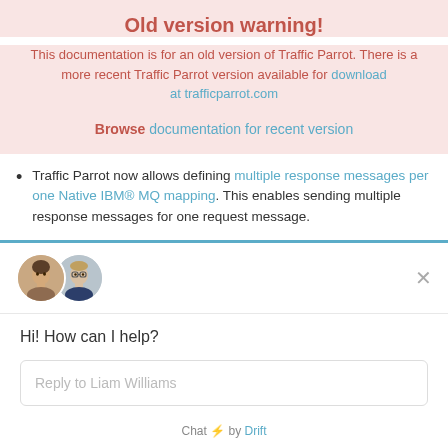Old version warning!
This documentation is for an old version of Traffic Parrot. There is a more recent Traffic Parrot version available for download at trafficparrot.com
Browse documentation for recent version
Traffic Parrot now allows defining multiple response messages per one Native IBM® MQ mapping. This enables sending multiple response messages for one request message.
[Figure (screenshot): Chat widget popup showing two avatars, a greeting 'Hi! How can I help?', a reply input field labeled 'Reply to Liam Williams', and a 'Chat by Drift' footer.]